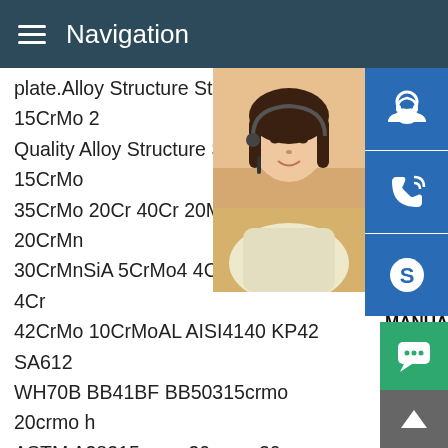Navigation
plate.Alloy Structure Steel Plate 15CrMo 2 Quality Alloy Structure Steel Plate 15CrMo 35CrMo 20Cr 40Cr 20Mn2 40Mn2 20CrMn 30CrMnSiA 5CrMo4 4CrMo4 2CrMo4 4Cr 42CrMo 10CrMoAL AISI4140 KP42 SA612 WH70B BB41BF BB50315crmo 20crmo h ASTM A28315crmo,20crmo,30crmo Alloy - Buy ,15crmo 20crmo hot sale .15crmo,20crmo Plate For Structure ,Find Complete Details about 15crmo,20crmo,30crmo Alloy Steel Plate For Structure Alloy High Strength Steel Plates,High Tensile Alloy Steel Plate,Low Alloy High Strength Steel Plate from Steel Sheets Supplier or15crmo 20crmo hot sale - Carbon low alloy ASTM A28315crmo,20crmo,30crmo Alloy Steel Plate For Structure - ,15crmo 20crmo hot sale .15crmo,20crmo,30crmo Alloy Steel Plate For Structure ,Find Complete Details about 15crmo,20crmo,3
[Figure (photo): Customer service representative woman with headset smiling]
[Figure (infographic): Blue icon panel with headset/support icon, phone icon, and Skype icon]
MANUAL SE... QUOTING O... Email: bsteel1@163.com
[Figure (other): Green chat bubble button]
[Figure (other): Grey scroll-to-top arrow button]